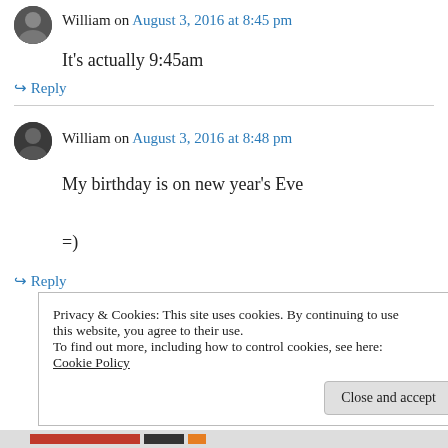William on August 3, 2016 at 8:45 pm
It's actually 9:45am
↪ Reply
William on August 3, 2016 at 8:48 pm
My birthday is on new year's Eve

=)
↪ Reply
Privacy & Cookies: This site uses cookies. By continuing to use this website, you agree to their use.
To find out more, including how to control cookies, see here: Cookie Policy
Close and accept